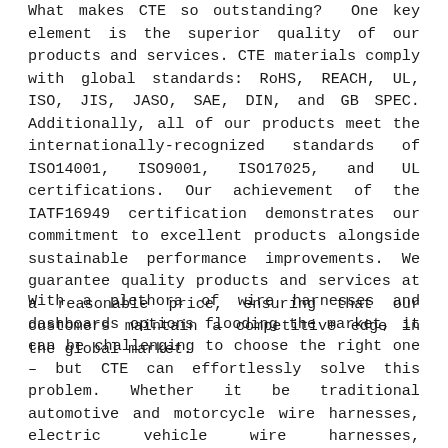What makes CTE so outstanding? One key element is the superior quality of our products and services. CTE materials comply with global standards: RoHS, REACH, UL, ISO, JIS, JASO, SAE, DIN, and GB SPEC. Additionally, all of our products meet the internationally-recognized standards of ISO14001, ISO9001, ISO17025, and UL certifications. Our achievement of the IATF16949 certification demonstrates our commitment to excellent products alongside sustainable performance improvements. We guarantee quality products and services at a reasonable price, ensuring that our customers maintain a competitive edge in the global market.
With a plethora of wire harnesses and dashboards options flooding the market, it can be challenging to choose the right one – but CTE can effortlessly solve this problem. Whether it be traditional automotive and motorcycle wire harnesses, electric vehicle wire harnesses, construction and agricultural machinery wire harnesses, motorcycle speedometers, ATV dashboards, marine dashboard, or